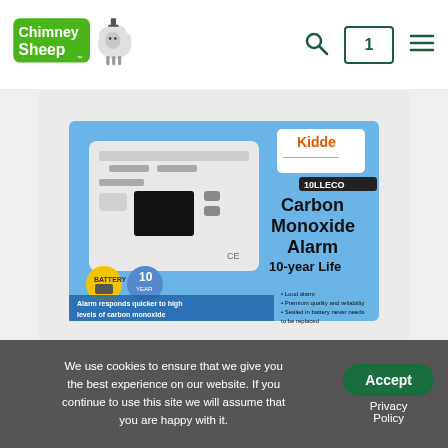Chimney Sheep — navigation header with logo, search, cart (1), and menu icons
[Figure (photo): Product photo: Kidde 10LLECO Carbon Monoxide Alarm 10-year Life in box packaging. Box is blue and white. Text on box: 'Carbon Monoxide Alarm 10-year Life', 'Alarm responds quicker to high levels of carbon monoxide', 'Digital display – monitors and displays CO levels detected'. Kidde logo on box. Battery and 10-year warranty badges shown.]
We use cookies to ensure that we give you the best experience on our website. If you continue to use this site we will assume that you are happy with it.
Accept
Privacy Policy